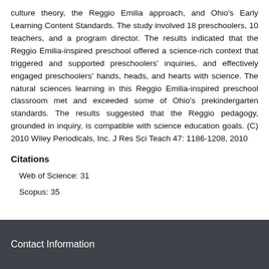culture theory, the Reggio Emilia approach, and Ohio's Early Learning Content Standards. The study involved 18 preschoolers, 10 teachers, and a program director. The results indicated that the Reggio Emilia-inspired preschool offered a science-rich context that triggered and supported preschoolers' inquiries, and effectively engaged preschoolers' hands, heads, and hearts with science. The natural sciences learning in this Reggio Emilia-inspired preschool classroom met and exceeded some of Ohio's prekindergarten standards. The results suggested that the Reggio pedagogy, grounded in inquiry, is compatible with science education goals. (C) 2010 Wiley Periodicals, Inc. J Res Sci Teach 47: 1186-1208, 2010
Citations
Web of Science: 31
Scopus: 35
Contact Information